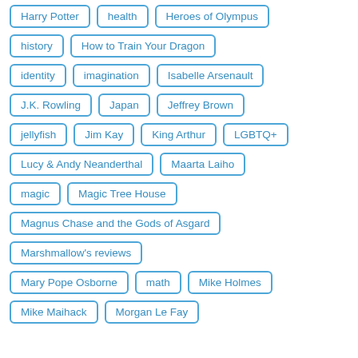Harry Potter
health
Heroes of Olympus
history
How to Train Your Dragon
identity
imagination
Isabelle Arsenault
J.K. Rowling
Japan
Jeffrey Brown
jellyfish
Jim Kay
King Arthur
LGBTQ+
Lucy & Andy Neanderthal
Maarta Laiho
magic
Magic Tree House
Magnus Chase and the Gods of Asgard
Marshmallow's reviews
Mary Pope Osborne
math
Mike Holmes
Mike Maihack
Morgan Le Fay